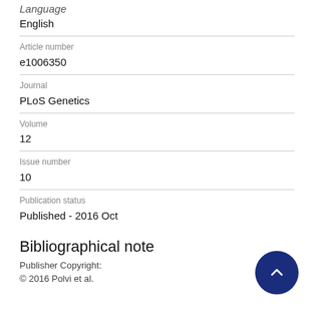English
Article number
e1006350
Journal
PLoS Genetics
Volume
12
Issue number
10
Publication status
Published - 2016 Oct
Bibliographical note
Publisher Copyright:
© 2016 Polvi et al.